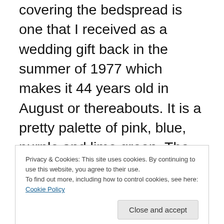covering the bedspread is one that I received as a wedding gift back in the summer of 1977 which makes it 44 years old in August or thereabouts. It is a pretty palette of pink, blue, purple and lime green. The material has become very fragile and there are many places where the material has separated and is fraying. The edging needs to be sewn back together in places. I think that will be my
Privacy & Cookies: This site uses cookies. By continuing to use this website, you agree to their use. To find out more, including how to control cookies, see here: Cookie Policy